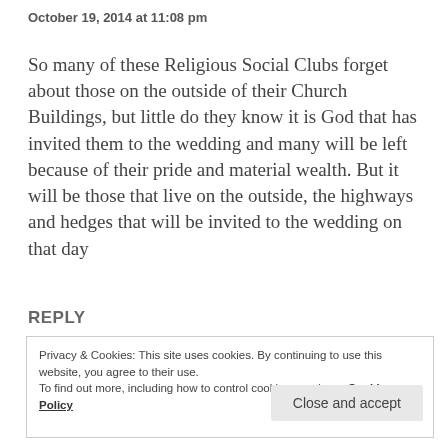October 19, 2014 at 11:08 pm
So many of these Religious Social Clubs forget about those on the outside of their Church Buildings, but little do they know it is God that has invited them to the wedding and many will be left because of their pride and material wealth. But it will be those that live on the outside, the highways and hedges that will be invited to the wedding on that day
.
REPLY
Privacy & Cookies: This site uses cookies. By continuing to use this website, you agree to their use.
To find out more, including how to control cookies, see here: Cookie Policy
Close and accept